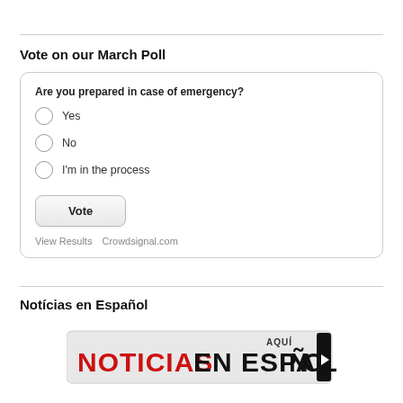Vote on our March Poll
Are you prepared in case of emergency?
Yes
No
I'm in the process
Vote
View Results   Crowdsignal.com
Notícias en Español
[Figure (logo): Noticias en Español AQUÍ banner with red NOTICIAS text and black arrow button]